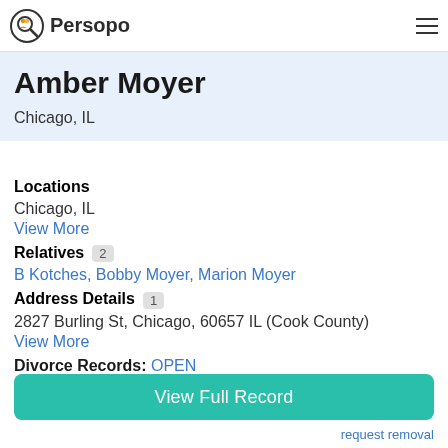Persopo
request removal
Amber Moyer
Chicago, IL
Locations
Chicago, IL
View More
Relatives 2
B Kotches, Bobby Moyer, Marion Moyer
Address Details 1
2827 Burling St, Chicago, 60657 IL (Cook County)
View More
Divorce Records: OPEN
View Full Record
request removal